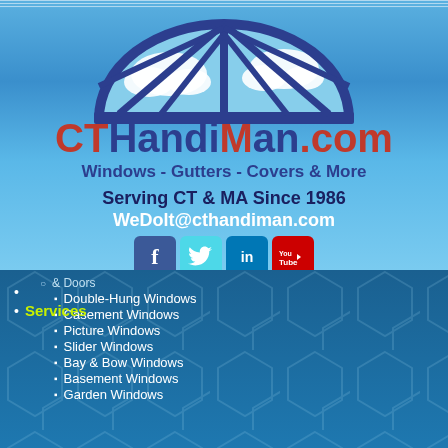[Figure (logo): CTHandiMan.com logo with semicircular window graphic showing sky and clouds with blue frame and spokes]
CTHandiMan.com
Windows - Gutters - Covers & More
Serving CT & MA Since 1986
WeDolt@cthandiman.com
[Figure (other): Social media icons: Facebook, Twitter, LinkedIn, YouTube]
Services
& Doors
Double-Hung Windows
Casement Windows
Picture Windows
Slider Windows
Bay & Bow Windows
Basement Windows
Garden Windows